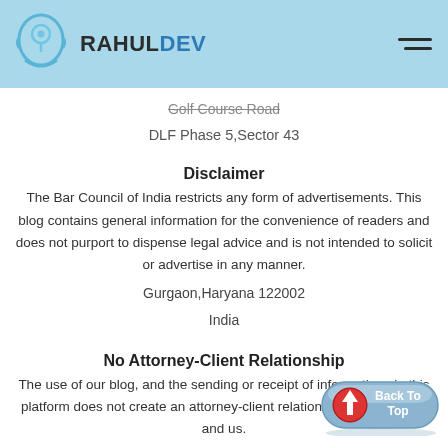RAHULDEV
Golf Course Road
DLF Phase 5,Sector 43
Disclaimer
The Bar Council of India restricts any form of advertisements. This blog contains general information for the convenience of readers and does not purport to dispense legal advice and is not intended to solicit or advertise in any manner.
Gurgaon,Haryana 122002
India
No Attorney-Client Relationship
The use of our blog, and the sending or receipt of information via this platform does not create an attorney-client relationship between you and us.
[Figure (illustration): Back To Top button with red upward arrow icon and blue rounded rectangle]